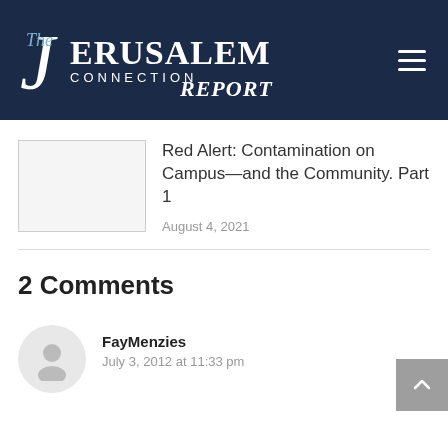[Figure (logo): The Jerusalem Connection Report logo on dark navy background with hamburger menu icon]
Red Alert: Contamination on Campus—and the Community. Part 1
August 4, 2021
2 Comments
[Figure (illustration): Generic user avatar circle icon for commenter FayMenzies]
FayMenzies
July 3, 2012 at 11:33 pm